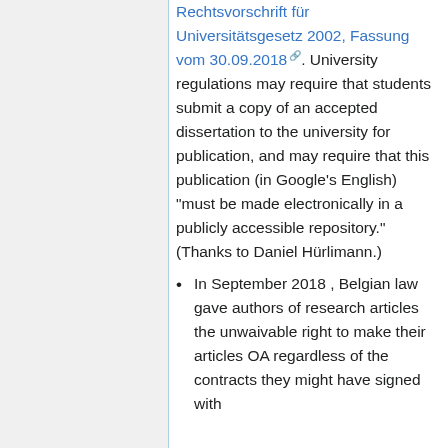Rechtsvorschrift für Universitätsgesetz 2002, Fassung vom 30.09.2018🔗. University regulations may require that students submit a copy of an accepted dissertation to the university for publication, and may require that this publication (in Google's English) "must be made electronically in a publicly accessible repository." (Thanks to Daniel Hürlimann.)
In September 2018 , Belgian law gave authors of research articles the unwaivable right to make their articles OA regardless of the contracts they might have signed with